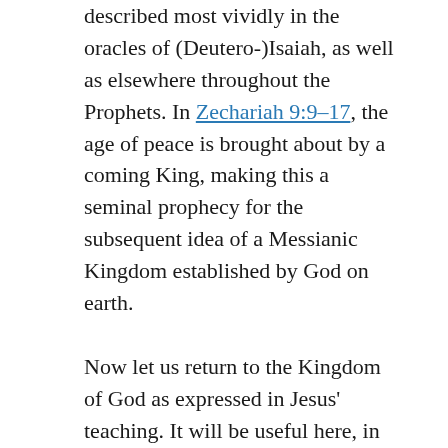described most vividly in the oracles of (Deutero-)Isaiah, as well as elsewhere throughout the Prophets. In Zechariah 9:9–17, the age of peace is brought about by a coming King, making this a seminal prophecy for the subsequent idea of a Messianic Kingdom established by God on earth.
Now let us return to the Kingdom of God as expressed in Jesus' teaching. It will be useful here, in conclusion, to examine how the three categories of his sayings/teachings on the Kingdom relate to Messianic thought of the period.